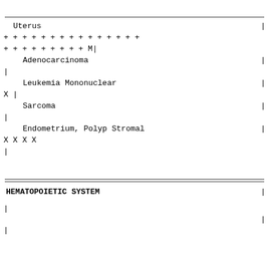| Uterus | | |
| + + + + + + + + + + + + + + + |  |
| + + + + + + + + + M| |  |
|     Adenocarcinoma | | |
| | |  |
|     Leukemia Mononuclear | | |
| X               | |  |
|     Sarcoma | | |
| | |  |
|     Endometrium, Polyp Stromal | | |
| X    X         X         X |  |
| | |  |
HEMATOPOIETIC SYSTEM
| | |  |
|  | | |
| | |  |